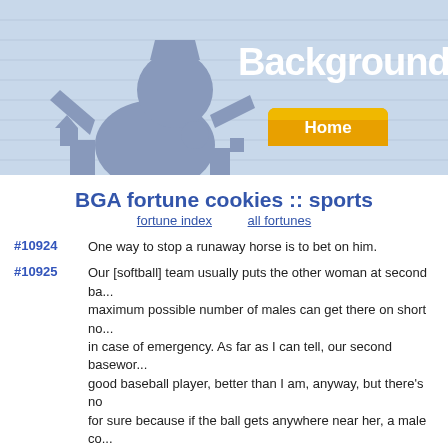[Figure (illustration): Website header banner with blue gradient background, silhouette of a person/robot figure on the left, and white bold text reading 'Backgrounds Ar...' on the right, with an orange/gold 'Home' button below the text]
BGA fortune cookies :: sports
fortune index    all fortunes
#10924  One way to stop a runaway horse is to bet on him.
#10925  Our [softball] team usually puts the other woman at second ba... maximum possible number of males can get there on short no... in case of emergency. As far as I can tell, our second basewor... good baseball player, better than I am, anyway, but there's no for sure because if the ball gets anywhere near her, a male co... over from, say, right field, to deal with it. She's been on the tea... three seasons now, but the males still don't trust her. They kno... their souls, that if she had to choose between catching a fly ba... an infant's life, she probably would elect to save the infant's life... ever considering whether there were men on base. -- Dave Barry, "Sports is a Drag"
#10926  P-K4